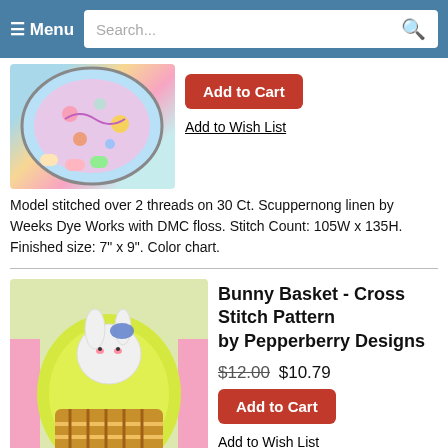Menu  Search...
[Figure (photo): Partial view of a round embroidered hoop with colorful floral cross stitch design, with Easter eggs in the background.]
Add to Cart
Add to Wish List
Model stitched over 2 threads on 30 Ct. Scuppernong linen by Weeks Dye Works with DMC floss. Stitch Count: 105W x 135H. Finished size: 7" x 9". Color chart.
[Figure (photo): Cross stitch bunny basket pattern in yellow with a white bunny and brown basket weave, surrounded by pink Easter grass and ribbons.]
Bunny Basket - Cross Stitch Pattern by Pepperberry Designs
$12.00 $10.79
Add to Cart
Add to Wish List
Model stitched over 2 threads on 28 Ct. Tropical linen with DMC floss. Stitch Count: 65W x 76H.